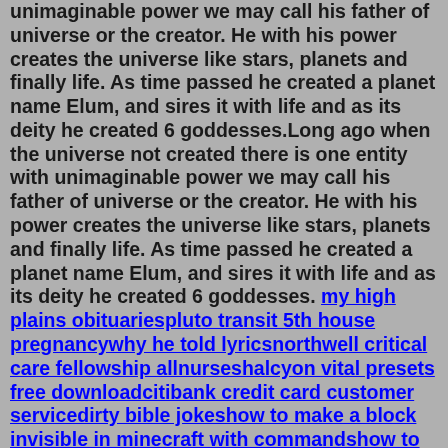unimaginable power we may call his father of universe or the creator. He with his power creates the universe like stars, planets and finally life. As time passed he created a planet name Elum, and sires it with life and as its deity he created 6 goddesses.Long ago when the universe not created there is one entity with unimaginable power we may call his father of universe or the creator. He with his power creates the universe like stars, planets and finally life. As time passed he created a planet name Elum, and sires it with life and as its deity he created 6 goddesses. my high plains obituariespluto transit 5th house pregnancywhy he told lyricsnorthwell critical care fellowship allnurseshalcyon vital presets free downloadcitibank credit card customer servicedirty bible jokeshow to make a block invisible in minecraft with commandshow to report a landlord in floridahow to get donations for yourselfbest naruto game for mobilemodular homes portsmouth nh xo